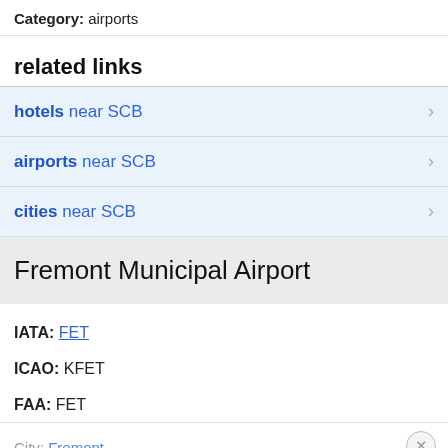Category: airports
related links
hotels near SCB
airports near SCB
cities near SCB
Fremont Municipal Airport
IATA: FET
ICAO: KFET
FAA: FET
City: Fremont
State: Nebraska